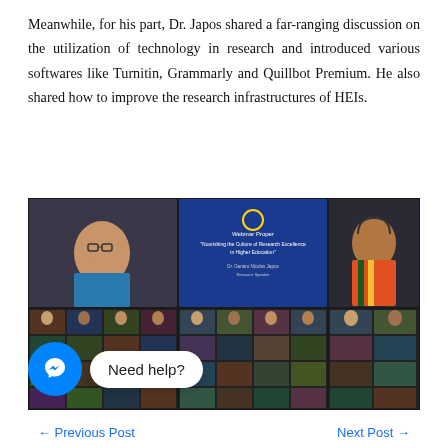Meanwhile, for his part, Dr. Japos shared a far-ranging discussion on the utilization of technology in research and introduced various softwares like Turnitin, Grammarly and Quillbot Premium. He also shared how to improve the research infrastructures of HEIs.
[Figure (photo): Screenshot of a webinar video call showing multiple participants in a grid layout. Top row shows a woman in a blue outfit on the left, a blue presentation slide in the center with text about 'Nourishing the Culture of Research Excellence in Higher Education', and a man on the right. Below are rows of smaller participant thumbnails.]
Need help?
← Previous Post    Next Post →